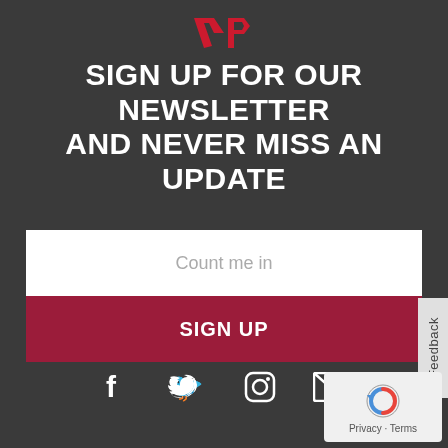[Figure (logo): Red stylized 'GP' logo mark at top center]
SIGN UP FOR OUR NEWSLETTER AND NEVER MISS AN UPDATE
[Figure (screenshot): Newsletter sign-up form with 'Count me in' placeholder text input and a dark red SIGN UP button]
[Figure (infographic): Social media icons: Facebook, Twitter, Instagram, Email/envelope]
[Figure (other): Google reCAPTCHA widget with Privacy and Terms links]